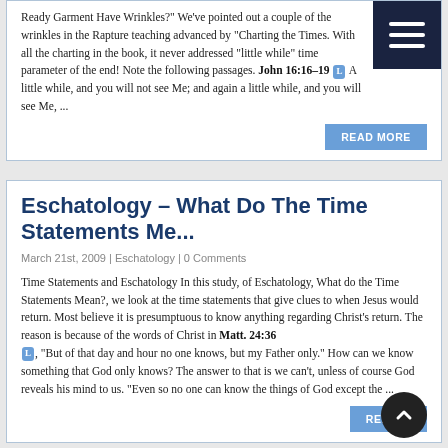Ready Garment Have Wrinkles?" We've pointed out a couple of the wrinkles in the Rapture teaching advanced by "Charting the Times. With all the charting in the book, it never addressed "little while" time parameter of the end! Note the following passages. John 16:16–19 [L] A little while, and you will not see Me; and again a little while, and you will see Me, ...
READ MORE
Eschatology – What Do The Time Statements Me...
March 21st, 2009 | Eschatology | 0 Comments
Time Statements and Eschatology In this study, of Eschatology, What do the Time Statements Mean?, we look at the time statements that give clues to when Jesus would return. Most believe it is presumptuous to know anything regarding Christ's return. The reason is because of the words of Christ in Matt. 24:36 [L], "But of that day and hour no one knows, but my Father only." How can we know something that God only knows? The answer to that is we can't, unless of course God reveals his mind to us. "Even so no one can know the things of God except the ...
READ MORE